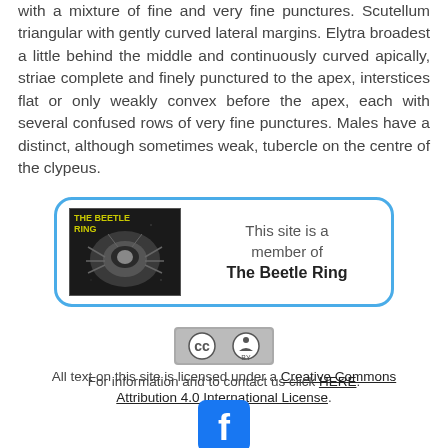with a mixture of fine and very fine punctures. Scutellum triangular with gently curved lateral margins. Elytra broadest a little behind the middle and continuously curved apically, striae complete and finely punctured to the apex, interstices flat or only weakly convex before the apex, each with several confused rows of very fine punctures. Males have a distinct, although sometimes weak, tubercle on the centre of the clypeus.
[Figure (infographic): The Beetle Ring membership badge: a rounded rectangle with blue border containing a black-and-white beetle image on the left labeled 'THE BEETLE RING' and text on the right reading 'This site is a member of The Beetle Ring']
[Figure (logo): Creative Commons CC BY license badge]
All text on this site is licensed under a Creative Commons Attribution 4.0 International License. For information and to contact us click HERE.
[Figure (logo): Facebook logo icon (blue square with white f)]